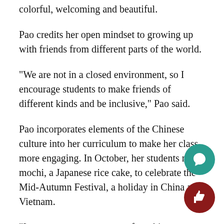colorful, welcoming and beautiful.
Pao credits her open mindset to growing up with friends from different parts of the world.
“We are not in a closed environment, so I encourage students to make friends of different kinds and be inclusive,” Pao said.
Pao incorporates elements of the Chinese culture into her curriculum to make her class more engaging. In October, her students made mochi, a Japanese rice cake, to celebrate the Mid-Autumn Festival, a holiday in China and Vietnam.
“I want to start a new way of teaching Chinese and learning Chinese,” Pao said. “My method is to find joy and have fun in Chinese learning. The language is hard, but I can make it fun.”